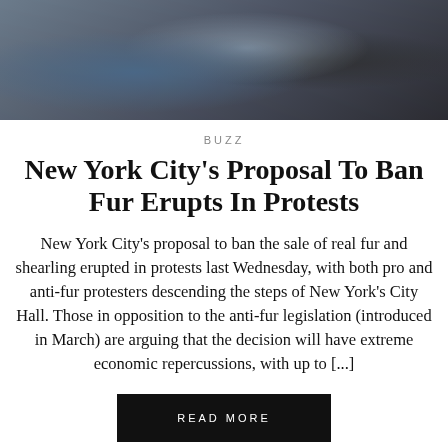[Figure (photo): Photo of protesters on steps of New York City Hall, people wearing colorful fur coats]
BUZZ
New York City's Proposal To Ban Fur Erupts In Protests
New York City's proposal to ban the sale of real fur and shearling erupted in protests last Wednesday, with both pro and anti-fur protesters descending the steps of New York's City Hall. Those in opposition to the anti-fur legislation (introduced in March) are arguing that the decision will have extreme economic repercussions, with up to [...]
READ MORE
MAY 18, 2019
[Figure (photo): Partial photo visible at the bottom of the page]